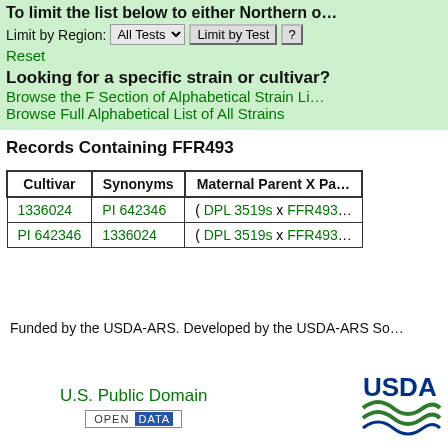To limit the list below to either Northern or…
Limit by Region: All Tests ▾  Limit by Test  ?
Reset
Looking for a specific strain or cultivar?
Browse the F Section of Alphabetical Strain Li…
Browse Full Alphabetical List of All Strains
Records Containing FFR493
| Cultivar | Synonyms | Maternal Parent X Pa… |
| --- | --- | --- |
| 1336024 | PI 642346 | ( DPL 3519s x FFR493… |
| PI 642346 | 1336024 | ( DPL 3519s x FFR493… |
Funded by the USDA-ARS. Developed by the USDA-ARS So…
U.S. Public Domain
OPEN DATA